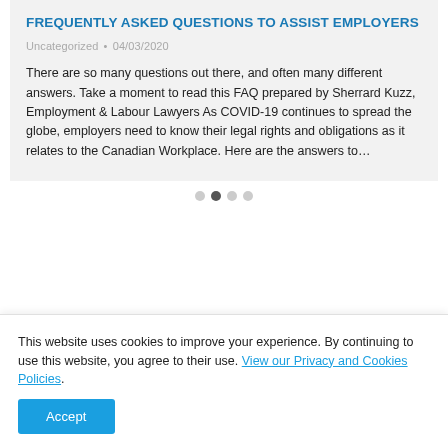FREQUENTLY ASKED QUESTIONS TO ASSIST EMPLOYERS
Uncategorized • 04/03/2020
There are so many questions out there, and often many different answers. Take a moment to read this FAQ prepared by Sherrard Kuzz, Employment & Labour Lawyers As COVID-19 continues to spread the globe, employers need to know their legal rights and obligations as it relates to the Canadian Workplace. Here are the answers to…
This website uses cookies to improve your experience. By continuing to use this website, you agree to their use. View our Privacy and Cookies Policies.